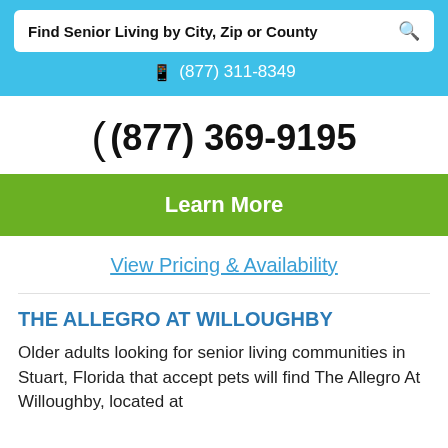Find Senior Living by City, Zip or County
(877) 311-8349
(877) 369-9195
Learn More
View Pricing & Availability
THE ALLEGRO AT WILLOUGHBY
Older adults looking for senior living communities in Stuart, Florida that accept pets will find The Allegro At Willoughby, located at